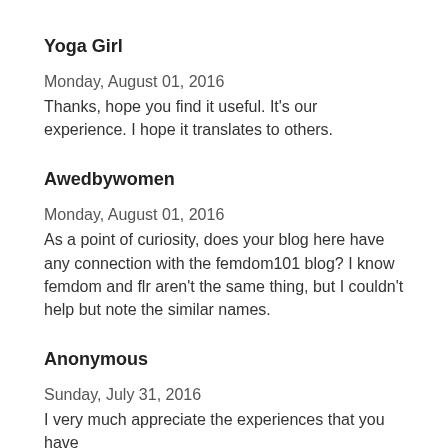Yoga Girl
Monday, August 01, 2016
Thanks, hope you find it useful. It's our experience. I hope it translates to others.
Awedbywomen
Monday, August 01, 2016
As a point of curiosity, does your blog here have any connection with the femdom101 blog? I know femdom and flr aren't the same thing, but I couldn't help but note the similar names.
Anonymous
Sunday, July 31, 2016
I very much appreciate the experiences that you have